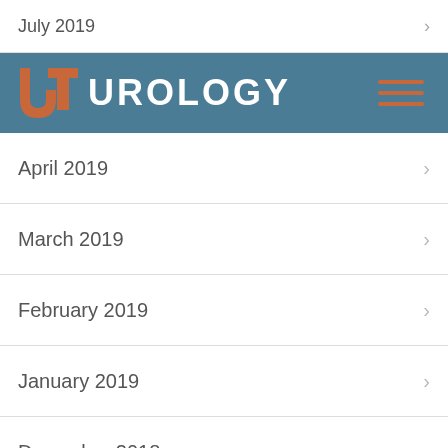July 2019
[Figure (logo): UT Urology logo and navigation header banner with hamburger menu icon on teal/blue background]
April 2019
March 2019
February 2019
January 2019
December 2018
November 2018